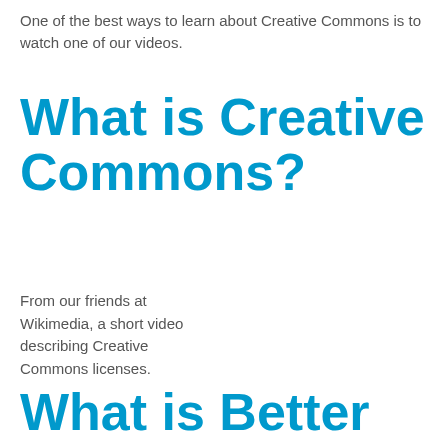One of the best ways to learn about Creative Commons is to watch one of our videos.
What is Creative Commons?
From our friends at Wikimedia, a short video describing Creative Commons licenses.
What is Better